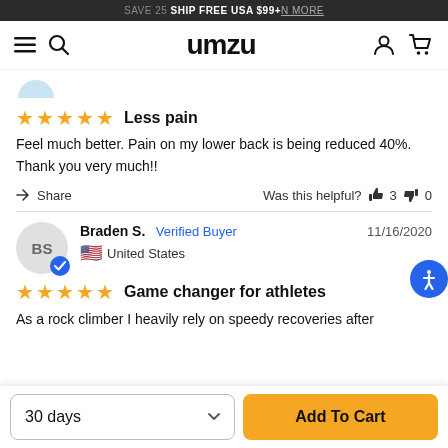SAVE 25 SHIP FREE USA $99+ ON MORE
[Figure (logo): UMZU logo with hamburger menu, search icon, user icon, and cart icon navigation bar]
[Figure (illustration): Partial blue avatar circle at top]
★★★★★ Less pain
Feel much better. Pain on my lower back is being reduced 40%. Thank you very much!!
Share   Was this helpful? 👍 3 👎 0
Braden S. Verified Buyer   11/16/2020   🇺🇸 United States
★★★★★ Game changer for athletes
As a rock climber I heavily rely on speedy recoveries after
30 days    Add To Cart